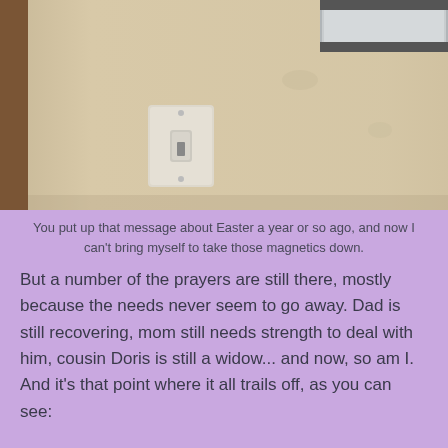[Figure (photo): Photo of a beige/tan wall with a light switch in the center and what appears to be magnetic letters or a message board at the top of the image]
You put up that message about Easter a year or so ago, and now I can't bring myself to take those magnetics down.
But a number of the prayers are still there, mostly because the needs never seem to go away. Dad is still recovering, mom still needs strength to deal with him, cousin Doris is still a widow... and now, so am I. And it's that point where it all trails off, as you can see: